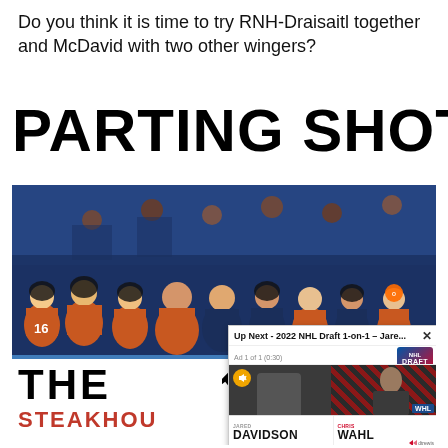Do you think it is time to try RNH-Draisaitl together and McDavid with two other wingers?
PARTING SHOTS...
[Figure (photo): Screenshot showing Edmonton Oilers hockey players celebrating on the bench in orange and navy jerseys, with an overlaid YouTube 'Up Next' panel showing '2022 NHL Draft 1-on-1 - Jare...' with names DAVIDSON and WAHL, and a bottom banner partially showing 'THE [K]' and 'STEAKHOU' in red.]